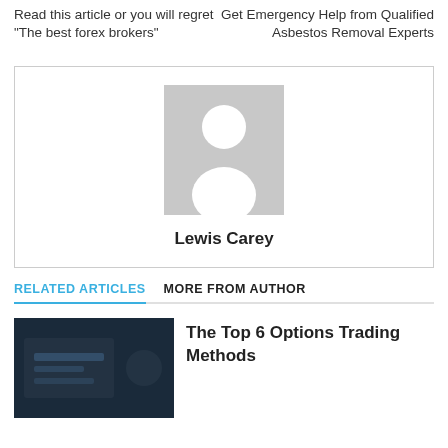Read this article or you will regret “The best forex brokers”
Get Emergency Help from Qualified Asbestos Removal Experts
[Figure (illustration): Gray avatar placeholder with white silhouette person icon]
Lewis Carey
RELATED ARTICLES
MORE FROM AUTHOR
[Figure (photo): Dark toned photo of a laptop/trading screen]
The Top 6 Options Trading Methods